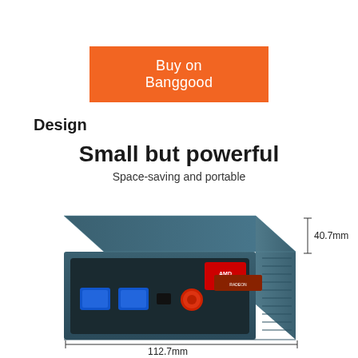[Figure (other): Orange button labeled 'Buy on Banggood']
Design
Small but powerful
Space-saving and portable
[Figure (photo): Mini PC (small form factor desktop computer) with AMD Ryzen branding, blue/dark teal aluminum chassis, two USB 3.0 ports and power button on the front. Dimension annotations show 40.7mm height and 112.7mm depth.]